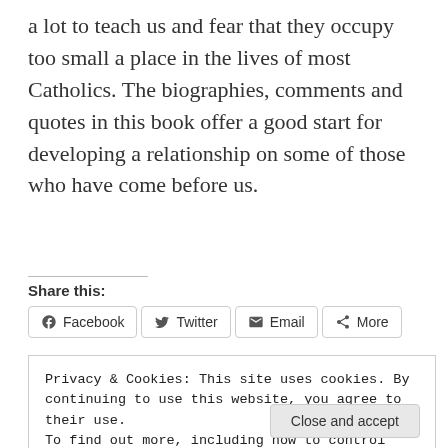a lot to teach us and fear that they occupy too small a place in the lives of most Catholics. The biographies, comments and quotes in this book offer a good start for developing a relationship on some of those who have come before us.
Share this:
Facebook  Twitter  Email  More
Privacy & Cookies: This site uses cookies. By continuing to use this website, you agree to their use.
To find out more, including how to control cookies, see here: Cookie Policy
Close and accept